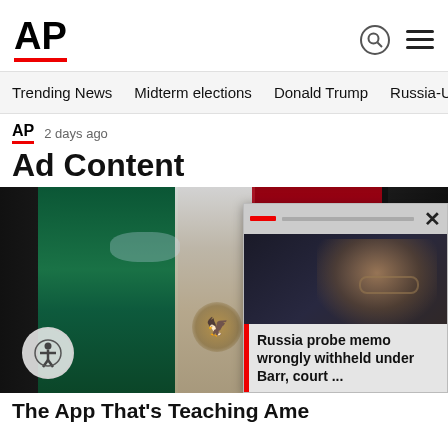AP
Trending News   Midterm elections   Donald Trump   Russia-Ukr
AP  2 days ago
Ad Content
[Figure (photo): Woman with Mexican flag colors painted on her face (green, white, red with eagle emblem on nose). An accessibility icon badge is visible in the bottom left. A popup overlay in bottom right shows a man with glasses and headline 'Russia probe memo wrongly withheld under Barr, court ...']
The App That's Teaching Ame